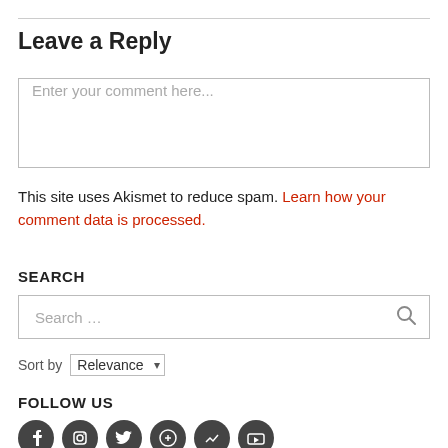Leave a Reply
[Figure (other): Comment text input box with placeholder text 'Enter your comment here...']
This site uses Akismet to reduce spam. Learn how your comment data is processed.
SEARCH
[Figure (other): Search input box with placeholder 'Search ...' and a magnifying glass icon]
Sort by Relevance
FOLLOW US
[Figure (other): Row of social media icons (partially visible at bottom)]